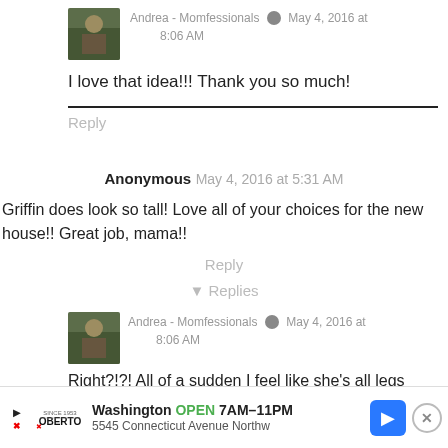[Figure (photo): Avatar photo of Andrea - Momfessionals, showing a family outdoors]
Andrea - Momfessionals  May 4, 2016 at 8:06 AM
I love that idea!!! Thank you so much!
Reply
Anonymous  May 4, 2016 at 5:31 AM
Griffin does look so tall! Love all of your choices for the new house!! Great job, mama!!
Reply
▾ Replies
[Figure (photo): Avatar photo of Andrea - Momfessionals, showing a family outdoors]
Andrea - Momfessionals  May 4, 2016 at 8:06 AM
Right?!?! All of a sudden I feel like she's all legs
Washington  OPEN  7AM–11PM  5545 Connecticut Avenue Northw